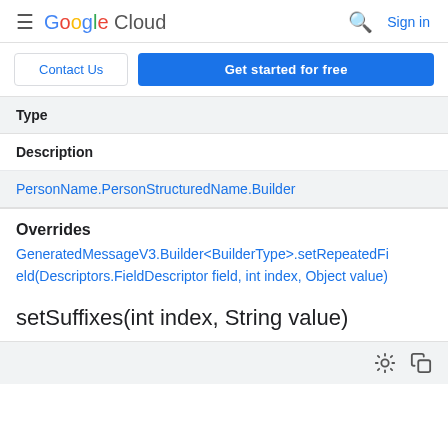Google Cloud  Sign in
Contact Us  Get started for free
| Type | Description |
| --- | --- |
| PersonName.PersonStructuredName.Builder |  |
Overrides
GeneratedMessageV3.Builder<BuilderType>.setRepeatedField(Descriptors.FieldDescriptor field, int index, Object value)
setSuffixes(int index, String value)